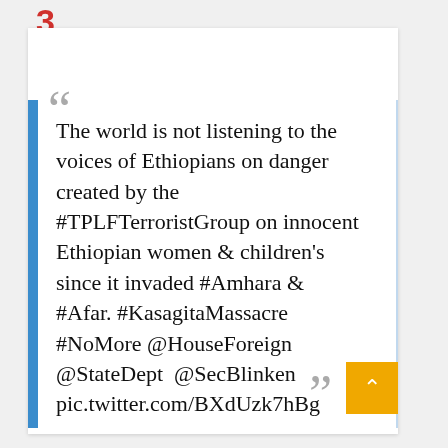3
The world is not listening to the voices of Ethiopians on danger created by the #TPLFTerroristGroup on innocent Ethiopian women & children's since it invaded #Amhara & #Afar. #KasagitaMassacre #NoMore @HouseForeign @StateDept @SecBlinken pic.twitter.com/BXdUzk7hBg